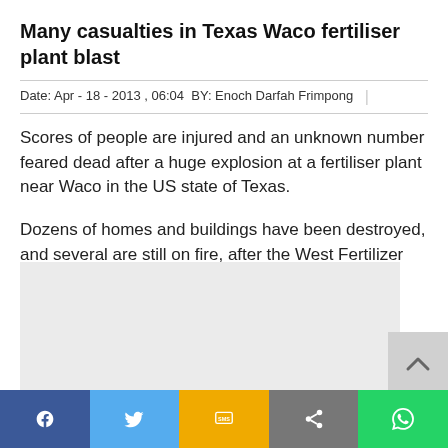Many casualties in Texas Waco fertiliser plant blast
Date: Apr - 18 - 2013 , 06:04  BY: Enoch Darfah Frimpong
Scores of people are injured and an unknown number feared dead after a huge explosion at a fertiliser plant near Waco in the US state of Texas.
Dozens of homes and buildings have been destroyed, and several are still on fire, after the West Fertilizer plant exploded at about 19:50 (00:50 GMT).
[Figure (other): Advertisement placeholder box (grey)]
[Figure (other): Scroll-to-top button with upward chevron arrow]